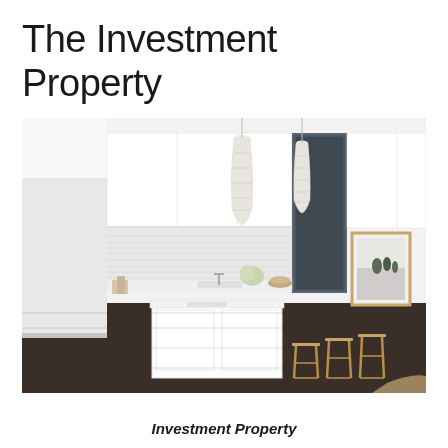The Investment Property
[Figure (photo): Interior photo of a modern white kitchen with dark hardwood floors, white cabinetry, white marble/tile backsplash, kitchen island with white countertop and sink, three natural wood bar stools, two pendant wicker/rattan lights hanging from ceiling, a framed coastal artwork on the right wall, and flowers on the counter.]
Investment Property